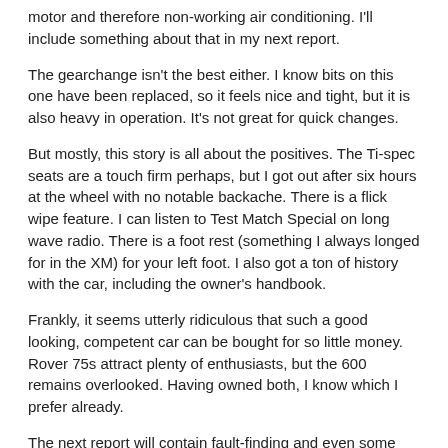motor and therefore non-working air conditioning. I'll include something about that in my next report.
The gearchange isn't the best either. I know bits on this one have been replaced, so it feels nice and tight, but it is also heavy in operation. It's not great for quick changes.
But mostly, this story is all about the positives. The Ti-spec seats are a touch firm perhaps, but I got out after six hours at the wheel with no notable backache. There is a flick wipe feature. I can listen to Test Match Special on long wave radio. There is a foot rest (something I always longed for in the XM) for your left foot. I also got a ton of history with the car, including the owner's handbook.
Frankly, it seems utterly ridiculous that such a good looking, competent car can be bought for so little money. Rover 75s attract plenty of enthusiasts, but the 600 remains overlooked. Having owned both, I know which I prefer already.
The next report will contain fault-finding and even some eradication! After that, I'll be putting 1200 miles on it in a week. Let's hope it really is reliable...